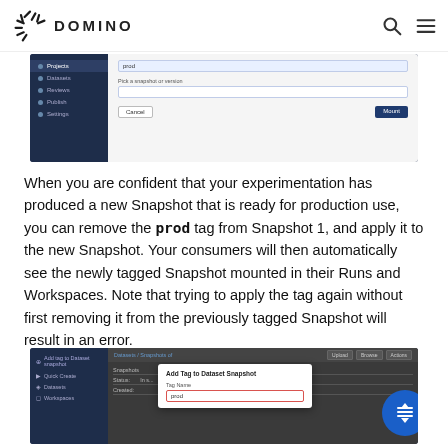DOMINO
[Figure (screenshot): Screenshot of Domino UI showing a modal dialog with form fields and Cancel/Mount buttons on a dark navy sidebar interface]
When you are confident that your experimentation has produced a new Snapshot that is ready for production use, you can remove the prod tag from Snapshot 1, and apply it to the new Snapshot. Your consumers will then automatically see the newly tagged Snapshot mounted in their Runs and Workspaces. Note that trying to apply the tag again without first removing it from the previously tagged Snapshot will result in an error.
[Figure (screenshot): Screenshot of Domino UI showing an 'Add Tag to Dataset Snapshot' modal dialog with Tag Name field containing 'prod', with red border highlight, on dark interface]